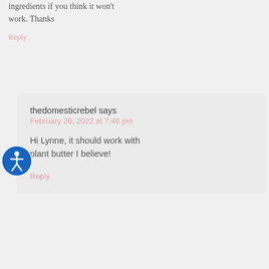ingredients if you think it won't work. Thanks
Reply
thedomesticrebel says
February 26, 2022 at 7:46 pm
Hi Lynne, it should work with plant butter I believe!
Reply
[Figure (illustration): Accessibility icon — blue circle with white stick figure person]